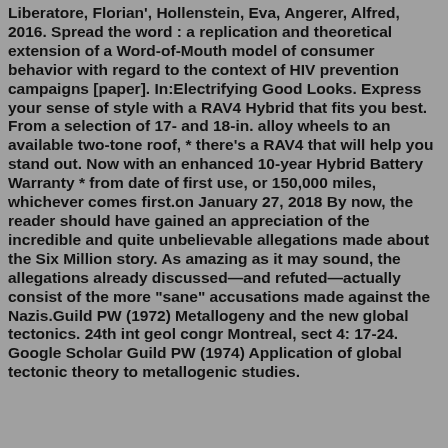Liberatore, Florian', Hollenstein, Eva, Angerer, Alfred, 2016. Spread the word : a replication and theoretical extension of a Word-of-Mouth model of consumer behavior with regard to the context of HIV prevention campaigns [paper]. In:Electrifying Good Looks. Express your sense of style with a RAV4 Hybrid that fits you best. From a selection of 17- and 18-in. alloy wheels to an available two-tone roof, * there's a RAV4 that will help you stand out. Now with an enhanced 10-year Hybrid Battery Warranty * from date of first use, or 150,000 miles, whichever comes first.on January 27, 2018 By now, the reader should have gained an appreciation of the incredible and quite unbelievable allegations made about the Six Million story. As amazing as it may sound, the allegations already discussed—and refuted—actually consist of the more "sane" accusations made against the Nazis.Guild PW (1972) Metallogeny and the new global tectonics. 24th int geol congr Montreal, sect 4: 17-24. Google Scholar Guild PW (1974) Application of global tectonic theory to metallogenic studies.